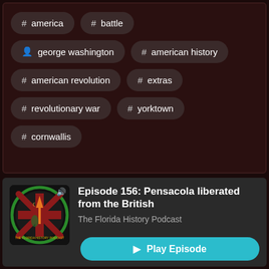# america
# battle
person george washington
# american history
# american revolution
# extras
# revolutionary war
# yorktown
# cornwallis
Episode 156: Pensacola liberated from the British
The Florida History Podcast
Play Episode